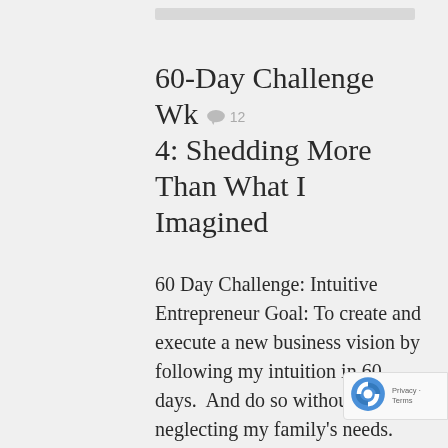60-Day Challenge Wk 4: Shedding More Than What I Imagined
60 Day Challenge: Intuitive Entrepreneur Goal: To create and execute a new business vision by following my intuition in 60 days.  And do so without neglecting my family's needs. The week 4 of this challenge was even